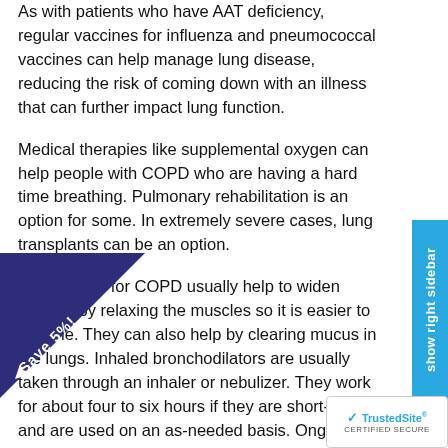As with patients who have AAT deficiency, regular vaccines for influenza and pneumococcal vaccines can help manage lung disease, reducing the risk of coming down with an illness that can further impact lung function.
Medical therapies like supplemental oxygen can help people with COPD who are having a hard time breathing. Pulmonary rehabilitation is an option for some. In extremely severe cases, lung transplants can be an option.
Medications for COPD usually help to widen airways by relaxing the muscles so it is easier to breathe. They can also help by clearing mucus in the lungs. Inhaled bronchodilators are usually taken through an inhaler or nebulizer. They work for about four to six hours if they are short-acting, and are used on an as-needed basis. Ongoing symptoms can be controlled through long-acting bronchodilators used every day, which last about 12 hours.